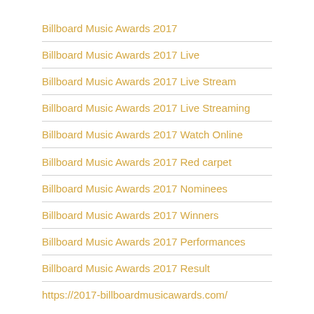Billboard Music Awards 2017
Billboard Music Awards 2017 Live
Billboard Music Awards 2017 Live Stream
Billboard Music Awards 2017 Live Streaming
Billboard Music Awards 2017 Watch Online
Billboard Music Awards 2017 Red carpet
Billboard Music Awards 2017 Nominees
Billboard Music Awards 2017 Winners
Billboard Music Awards 2017 Performances
Billboard Music Awards 2017 Result
https://2017-billboardmusicawards.com/